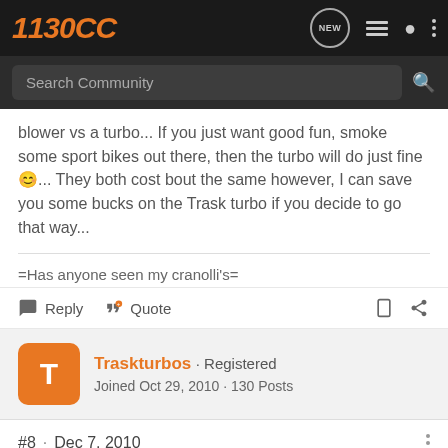1130CC
blower vs a turbo... If you just want good fun, smoke some sport bikes out there, then the turbo will do just fine 🙂... They both cost bout the same however, I can save you some bucks on the Trask turbo if you decide to go that way...
=Has anyone seen my cranolli's=
Reply  Quote
Traskturbos · Registered
Joined Oct 29, 2010 · 130 Posts
#8 · Dec 7, 2010